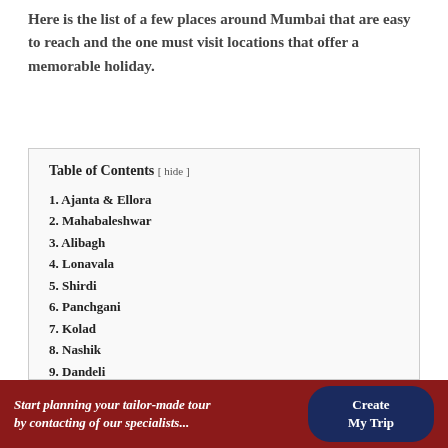Here is the list of a few places around Mumbai that are easy to reach and the one must visit locations that offer a memorable holiday.
| Table of Contents |
| --- |
| 1. Ajanta & Ellora |
| 2. Mahabaleshwar |
| 3. Alibagh |
| 4. Lonavala |
| 5. Shirdi |
| 6. Panchgani |
| 7. Kolad |
| 8. Nashik |
| 9. Dandeli |
| 10. Daman |
Start planning your tailor-made tour by contacting of our specialists... | Create My Trip